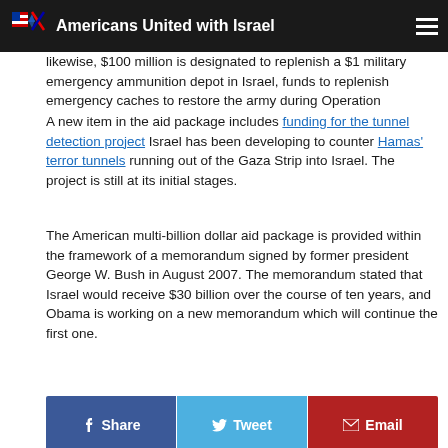Americans United with Israel
likewise, $100 million is designated as replenish a $1 military emergency ammunition depot in Israel, funds to replenish emergency caches to restore the army during Operation Protective Edge in the summer of 2014.
A new item in the aid package includes funding for the tunnel detection project Israel has been developing to counter Hamas' terror tunnels running out of the Gaza Strip into Israel. The project is still at its initial stages.
The American multi-billion dollar aid package is provided within the framework of a memorandum signed by former president George W. Bush in August 2007. The memorandum stated that Israel would receive $30 billion over the course of ten years, and Obama is working on a new memorandum which will continue the first one.
It is estimated that this package will be bigger than the first to meet Israel's growing security needs, especially in the wake of the nuclear deal signed with Iran and the mounting threat of Islamic terrorism and its spread across the Middle East.
[Figure (infographic): Social share buttons: Share (Facebook blue), Tweet (Twitter blue), Email (red)]
Enjoy this article? Sign up for our newsletter! (See our Privacy Policy)
Your Email